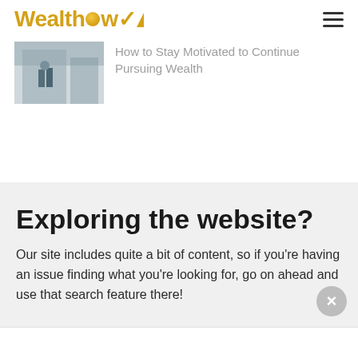WealthHow
[Figure (photo): Thumbnail image of a person walking near a modern building exterior]
How to Stay Motivated to Continue Pursuing Wealth
Exploring the website?
Our site includes quite a bit of content, so if you're having an issue finding what you're looking for, go on ahead and use that search feature there!